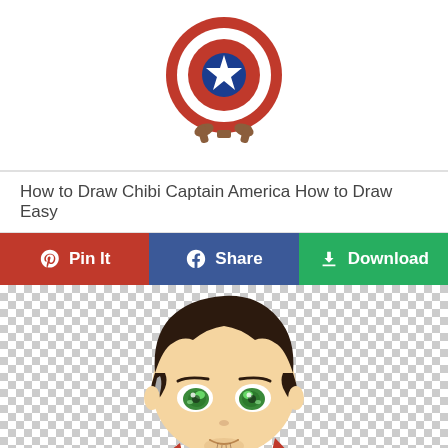[Figure (illustration): Chibi Captain America shield illustration — red, white and blue shield with a star, held up by cartoon legs]
How to Draw Chibi Captain America How to Draw Easy
[Figure (infographic): Three social action buttons: red Pin It (Pinterest), blue Share (Facebook), green Download]
[Figure (illustration): Chibi Doctor Strange illustration — large-eyed cartoon character with dark hair, grey streak, green glowing eyes, red cape, holding a glowing object, on a checkered transparent background]